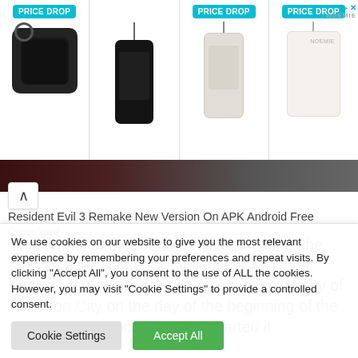[Figure (screenshot): Advertisement banner showing 4 product items with PRICE DROP badges: a black AirPods case, a black phone case with strap, a clear/light phone case with strap, and a white/cream zip pouch. NOEMIE branding in top right.]
[Figure (photo): Partial dark red/brown image strip, appears to be a section of a Resident Evil 3 Remake screenshot or promotional image.]
Resident Evil 3 Remake New Version On APK Android Free Download
The events of the remake will again affect the story of a girl named Jill Valentine. As in the original game, she will be locked up in the city of Raccoon City on the day of the beginning of the very zombie apocalypse that started it
We use cookies on our website to give you the most relevant experience by remembering your preferences and repeat visits. By clicking "Accept All", you consent to the use of ALL the cookies. However, you may visit "Cookie Settings" to provide a controlled consent.